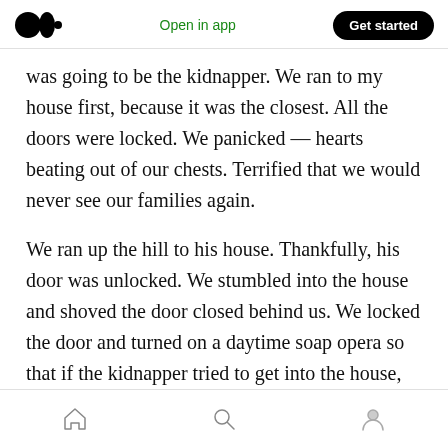Medium logo | Open in app | Get started
was going to be the kidnapper. We ran to my house first, because it was the closest. All the doors were locked. We panicked — hearts beating out of our chests. Terrified that we would never see our families again.
We ran up the hill to his house. Thankfully, his door was unlocked. We stumbled into the house and shoved the door closed behind us. We locked the door and turned on a daytime soap opera so that if the kidnapper tried to get into the house, they would think adults were home.
Home | Search | Profile